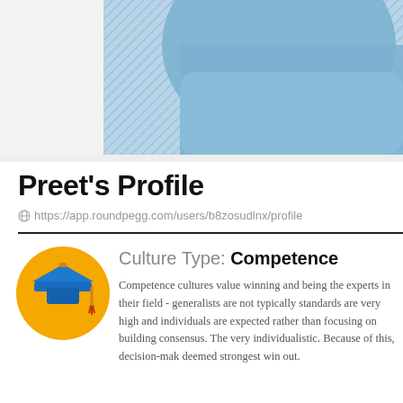[Figure (illustration): Blue textured background with diagonal stripe pattern and a rounded blue shape, partially visible profile cover image]
Preet's Profile
https://app.roundpegg.com/users/b8zosudlnx/profile
[Figure (illustration): Graduation cap icon on a yellow/gold circular background]
Culture Type: Competence
Competence cultures value winning and being the experts in their field - generalists are not typically standards are very high and individuals are expected rather than focusing on building consensus. The very individualistic. Because of this, decision-mak deemed strongest win out.